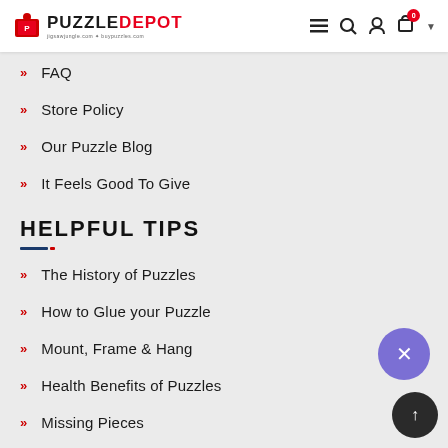PuzzleDepot - jigsawjungle.com + buypuzzles.com
FAQ
Store Policy
Our Puzzle Blog
It Feels Good To Give
HELPFUL TIPS
The History of Puzzles
How to Glue your Puzzle
Mount, Frame & Hang
Health Benefits of Puzzles
Missing Pieces
Piece of the Puzzle Rewards
Ways to Make Puzzle Solving Easy